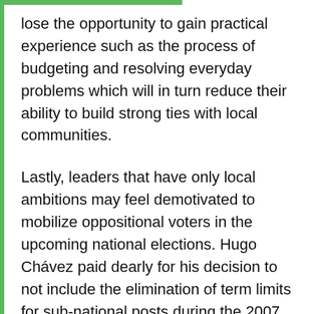lose the opportunity to gain practical experience such as the process of budgeting and resolving everyday problems which will in turn reduce their ability to build strong ties with local communities.
Lastly, leaders that have only local ambitions may feel demotivated to mobilize oppositional voters in the upcoming national elections. Hugo Chávez paid dearly for his decision to not include the elimination of term limits for sub-national posts during the 2007 Constitutional Reform